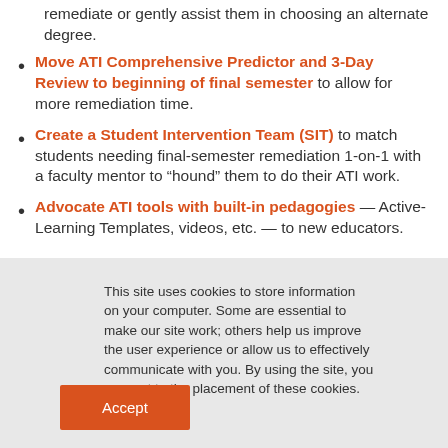remediate or gently assist them in choosing an alternate degree.
Move ATI Comprehensive Predictor and 3-Day Review to beginning of final semester to allow for more remediation time.
Create a Student Intervention Team (SIT) to match students needing final-semester remediation 1-on-1 with a faculty mentor to “hound” them to do their ATI work.
Advocate ATI tools with built-in pedagogies — Active-Learning Templates, videos, etc. — to new educators.
This site uses cookies to store information on your computer. Some are essential to make our site work; others help us improve the user experience or allow us to effectively communicate with you. By using the site, you consent to the placement of these cookies. Cookie Policy
Accept